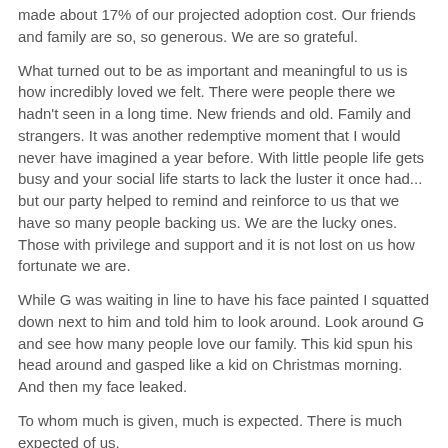made about 17% of our projected adoption cost.  Our friends and family are so, so generous.  We are so grateful.
What turned out to be as important and meaningful to us is how incredibly loved we felt.  There were people there we hadn't seen in a long time.  New friends and old.  Family and strangers.  It was another redemptive moment that I would never have imagined a year before.  With little people life gets busy and your social life starts to lack the luster it once had... but our party helped to remind and reinforce to us that we have so many people backing us.  We are the lucky ones.  Those with privilege and support and it is not lost on us how fortunate we are.
While G was waiting in line to have his face painted I squatted down next to him and told him to look around.  Look around G and see how many people love our family.  This kid spun his head around and gasped like a kid on Christmas morning.  And then my face leaked.
To whom much is given, much is expected.  There is much expected of us.